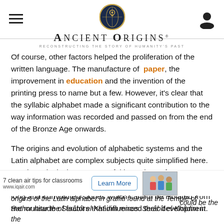Ancient Origins — Reconstructing the story of humanity's past
Of course, other factors helped the proliferation of the written language. The manufacture of paper, the improvement in education and the invention of the printing press to name but a few. However, it's clear that the syllabic alphabet made a significant contribution to the way information was recorded and passed on from the end of the Bronze Age onwards.
The origins and evolution of alphabetic systems and the Latin alphabet are complex subjects quite simplified here. But the point is that many useful inventions often start as happy accidents of history. Spoken languages also have long and convoluted stories which cannot be isolated from the multitude of factors that influenced their development.
[Figure (screenshot): Advertisement bar: '7 clean air tips for classrooms' with Learn More button and photo of students, plus www.iqair.com URL]
could be the origins of the Latin alphabet in graffiti found at the Temple of Hathor near the Serâbît el-Khâdim mines. Serâbît el-Khâdim in the